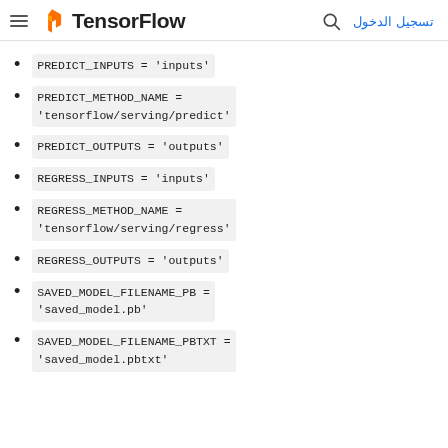TensorFlow  تسجيل الدخول
PREDICT_INPUTS = 'inputs'
PREDICT_METHOD_NAME = 'tensorflow/serving/predict'
PREDICT_OUTPUTS = 'outputs'
REGRESS_INPUTS = 'inputs'
REGRESS_METHOD_NAME = 'tensorflow/serving/regress'
REGRESS_OUTPUTS = 'outputs'
SAVED_MODEL_FILENAME_PB = 'saved_model.pb'
SAVED_MODEL_FILENAME_PBTXT = 'saved_model.pbtxt'